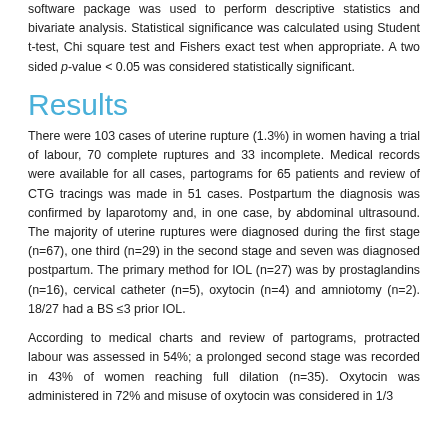software package was used to perform descriptive statistics and bivariate analysis. Statistical significance was calculated using Student t-test, Chi square test and Fishers exact test when appropriate. A two sided p-value < 0.05 was considered statistically significant.
Results
There were 103 cases of uterine rupture (1.3%) in women having a trial of labour, 70 complete ruptures and 33 incomplete. Medical records were available for all cases, partograms for 65 patients and review of CTG tracings was made in 51 cases. Postpartum the diagnosis was confirmed by laparotomy and, in one case, by abdominal ultrasound. The majority of uterine ruptures were diagnosed during the first stage (n=67), one third (n=29) in the second stage and seven was diagnosed postpartum. The primary method for IOL (n=27) was by prostaglandins (n=16), cervical catheter (n=5), oxytocin (n=4) and amniotomy (n=2). 18/27 had a BS ≤3 prior IOL.
According to medical charts and review of partograms, protracted labour was assessed in 54%; a prolonged second stage was recorded in 43% of women reaching full dilation (n=35). Oxytocin was administered in 72% and misuse of oxytocin was considered in 1/3